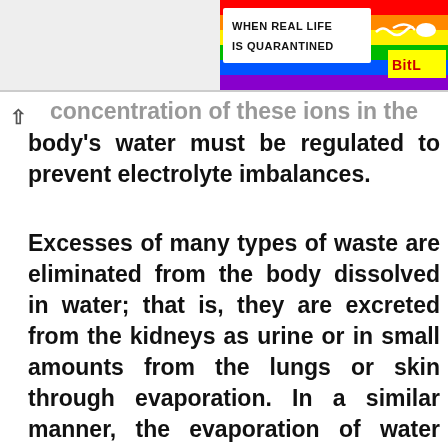[Figure (other): Rainbow-colored banner with text 'WHEN REAL LIFE IS QUARANTINED' and 'BitL' logo on right side]
concentration of these ions in the body's water must be regulated to prevent electrolyte imbalances.
Excesses of many types of waste are eliminated from the body dissolved in water; that is, they are excreted from the kidneys as urine or in small amounts from the lungs or skin through evaporation. In a similar manner, the evaporation of water from the skin cools the body. Water molecules are also essential reactants in all the various hydrolytic reactions of metabolism. Without it, the breakdown of molecules such as starch, proteins, and